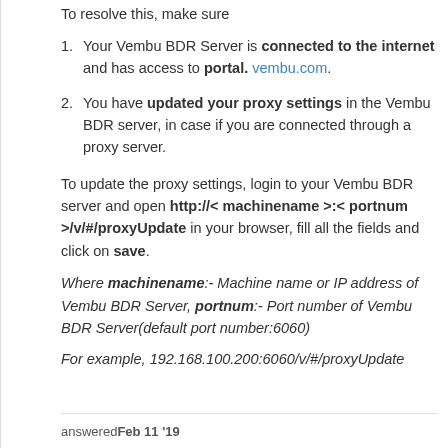To resolve this, make sure
Your Vembu BDR Server is connected to the internet and has access to portal. vembu.com.
You have updated your proxy settings in the Vembu BDR server, in case if you are connected through a proxy server.
To update the proxy settings, login to your Vembu BDR server and open http://< machinename >:< portnum >/v/#/proxyUpdate in your browser, fill all the fields and click on save.
Where machinename:- Machine name or IP address of Vembu BDR Server, portnum:- Port number of Vembu BDR Server(default port number:6060)
For example, 192.168.100.200:6060/v/#/proxyUpdate
answered Feb 11 '19